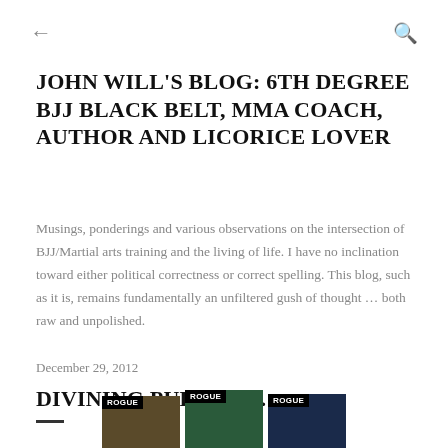← (back) Q (search)
JOHN WILL'S BLOG: 6TH DEGREE BJJ BLACK BELT, MMA COACH, AUTHOR AND LICORICE LOVER
Musings, ponderings and various observations on the intersection of BJJ/Martial arts training and the living of life. I have no inclination toward either political correctness or correct spelling. This blog, such as it is, remains fundamentally an unfiltered gush of thought … both raw and unpolished.
December 29, 2012
DIVINING PURPOSE …
[Figure (photo): Three ROGUE magazine covers partially visible at the bottom of the page]